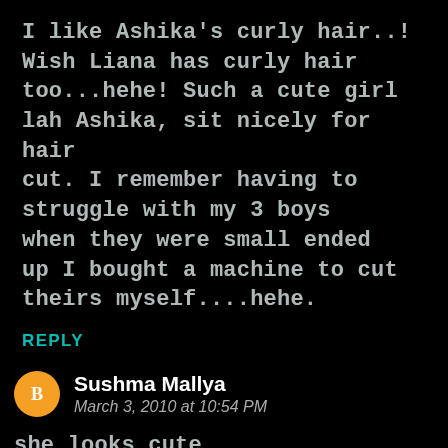I like Ashika's curly hair..! Wish Liana has curly hair too...hehe! Such a cute girl lah Ashika, sit nicely for hair cut. I remember having to struggle with my 3 boys when they were small ended up I bought a machine to cut theirs myself....hehe.
REPLY
Sushma Mallya
March 3, 2010 at 10:54 PM
she looks cute anyways....love ashika,she looks so beautiful...and so quietly she is sitting in the